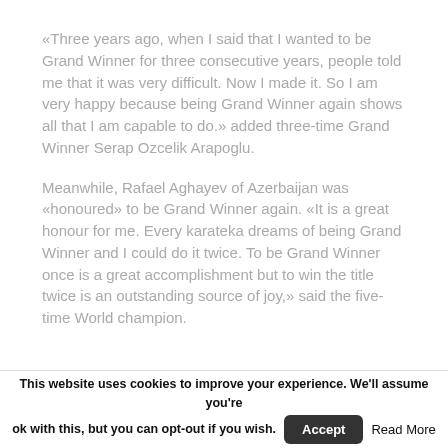«Three years ago, when I said that I wanted to be Grand Winner for three consecutive years, people told me that it was very difficult. Now I made it. So I am very happy because being Grand Winner again shows all that I am capable to do.» added three-time Grand Winner Serap Ozcelik Arapoglu.
Meanwhile, Rafael Aghayev of Azerbaijan was «honoured» to be Grand Winner again. «It is a great honour for me. Every karateka dreams of being Grand Winner and I could do it twice. To be Grand Winner once is a great accomplishment but to win the title twice is an outstanding source of joy,» said the five-time World champion.
This website uses cookies to improve your experience. We'll assume you're ok with this, but you can opt-out if you wish. Accept Read More